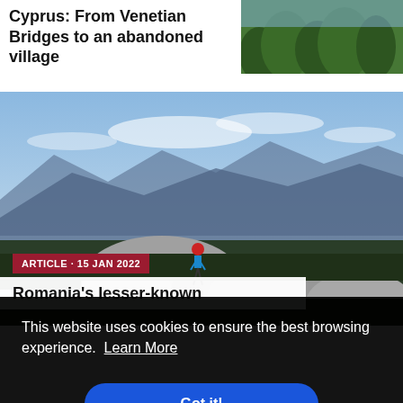Cyprus: From Venetian Bridges to an abandoned village
[Figure (photo): Green forest/nature photo thumbnail on the right side of the Cyprus article card]
[Figure (photo): Mountain landscape with a hiker sitting on a rock, surrounded by forested mountain ranges under a partly cloudy sky. Romania hiking article photo.]
ARTICLE · 15 JAN 2022
Romania's lesser-known
This website uses cookies to ensure the best browsing experience.  Learn More
Got it!
Get involved with Cicerone